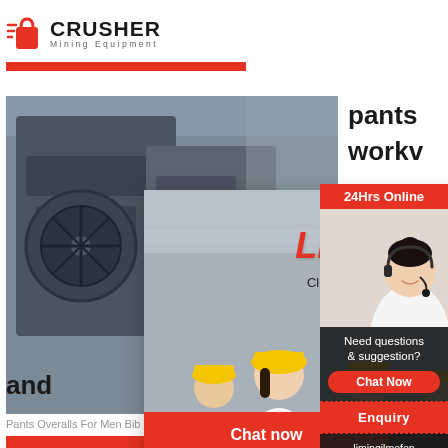[Figure (logo): Crusher Mining Equipment logo with red shopping bag icon and bold text]
[Figure (photo): Mining equipment / industrial machinery photo on left side]
pants
workv
[Figure (infographic): Live Chat popup overlay with workers wearing yellow hard hats, LIVE CHAT heading in red italic, 'Click for a Free Consultation' text, Chat now and Chat later buttons]
[Figure (photo): Right sidebar: 24Hrs Online, customer service agent with headset photo, Need questions & suggestion, Chat Now button, Enquiry link, limingjlmofen@sina.com email]
and
Pants Overalls For Men Bib Pants For Man TC A
[Figure (other): Read More button in red/orange]
Read More